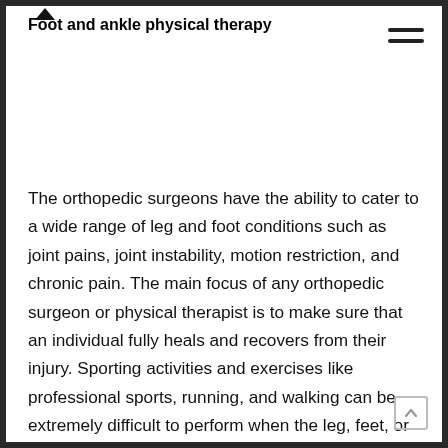Foot and ankle physical therapy
The orthopedic surgeons have the ability to cater to a wide range of leg and foot conditions such as joint pains, joint instability, motion restriction, and chronic pain. The main focus of any orthopedic surgeon or physical therapist is to make sure that an individual fully heals and recovers from their injury. Sporting activities and exercises like professional sports, running, and walking can be extremely difficult to perform when the leg, feet, or attached body parts are in pain. Physical therapists are essential in the healing and recovery process of many feet problems that do not require surgical treatment. Physical therapists often work in collaboration with orthopedic surgeons who diagnose and treat feet or leg conditions that require surgery or invasive treatment methods. Orthopedic surgery